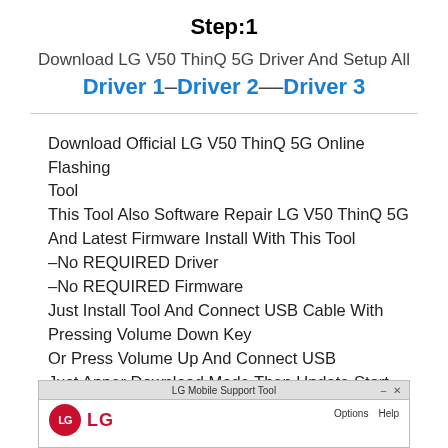Step:1
Download LG V50 ThinQ 5G Driver And Setup All Driver 1–Driver 2––Driver 3
Download Official LG V50 ThinQ 5G Online Flashing Tool
This Tool Also Software Repair LG V50 ThinQ 5G And Latest Firmware Install With This Tool
-No REQUIRED Driver
-No REQUIRED Firmware
Just Install Tool And Connect USB Cable With Pressing Volume Down Key
Or Press Volume Up And Connect USB
Just Apper Download Mode Then Update Start
[Figure (screenshot): LG Mobile Support Tool application window showing LG logo on the left and Options/Help menu items on the right]